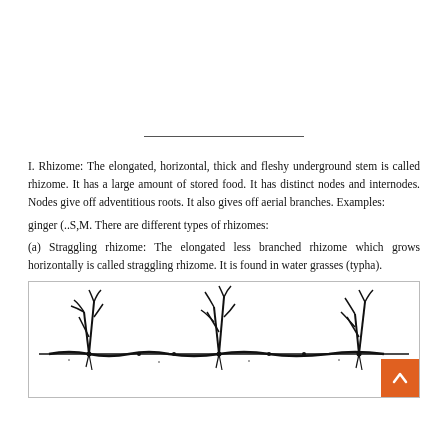——————————————
I. Rhizome: The elongated, horizontal, thick and fleshy underground stem is called rhizome. It has a large amount of stored food. It has distinct nodes and internodes. Nodes give off adventitious roots. It also gives off aerial branches. Examples:
ginger (..S,M. There are different types of rhizomes:
(a) Straggling rhizome: The elongated less branched rhizome which grows horizontally is called straggling rhizome. It is found in water grasses (typha).
[Figure (illustration): Botanical illustration of a straggling rhizome (water grass/typha) showing horizontal underground stem with vertical aerial shoots growing upward]